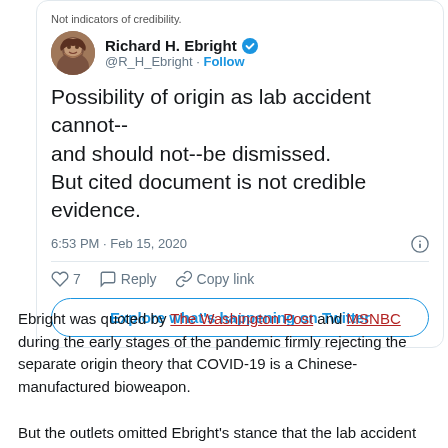[Figure (screenshot): Tweet card from Richard H. Ebright (@R_H_Ebright) with verified badge, tweet text: 'Possibility of origin as lab accident cannot-- and should not--be dismissed. But cited document is not credible evidence.' Posted 6:53 PM · Feb 15, 2020. Shows 7 likes, Reply, Copy link actions, and Explore what's happening on Twitter button.]
Ebright was quoted by The Washington Post and MSNBC during the early stages of the pandemic firmly rejecting the separate origin theory that COVID-19 is a Chinese-manufactured bioweapon.
But the outlets omitted Ebright's stance that the lab accident